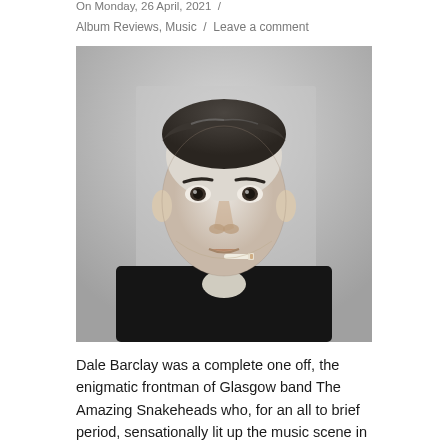On Monday, 26 April, 2021  /
Album Reviews, Music  /  Leave a comment
[Figure (photo): Black and white portrait photograph of Dale Barclay, a young man with short slicked-back hair, a cigarette in his mouth, wearing a dark jacket with a collared shirt, looking directly at the camera against a light background.]
Dale Barclay was a complete one off, the enigmatic frontman of Glasgow band The Amazing Snakeheads who, for an all to brief period, sensationally lit up the music scene in